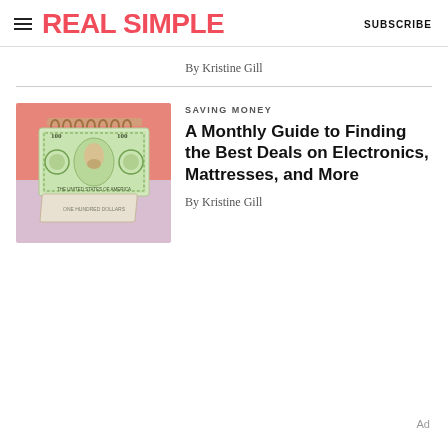REAL SIMPLE | SUBSCRIBE
By Kristine Gill
SAVING MONEY
A Monthly Guide to Finding the Best Deals on Electronics, Mattresses, and More
[Figure (illustration): Illustration of a $100 bill folded like a desk calendar, set against a pink and lavender background]
By Kristine Gill
Ad